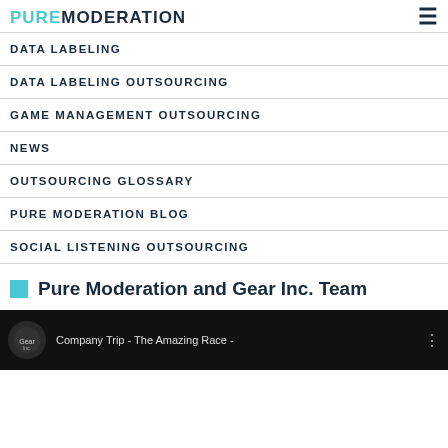PURE MODERATION
DATA LABELING
DATA LABELING OUTSOURCING
GAME MANAGEMENT OUTSOURCING
NEWS
OUTSOURCING GLOSSARY
PURE MODERATION BLOG
SOCIAL LISTENING OUTSOURCING
Pure Moderation and Gear Inc. Team
[Figure (screenshot): Video thumbnail showing Gear Inc. logo and text 'Company Trip - The Amazing Race -']